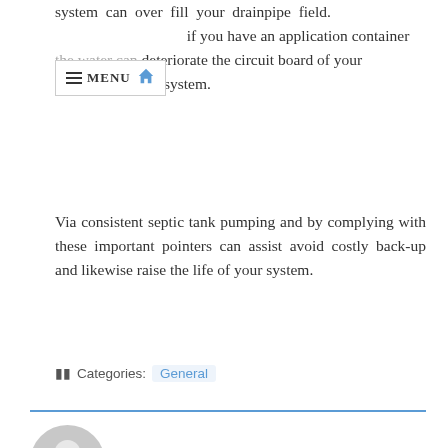system can over fill your drainpipe field. if you have an application container the water can deteriorate the circuit board of your high water alarm system.
Via consistent septic tank pumping and by complying with these important pointers can assist avoid costly back-up and likewise raise the life of your system.
Categories: General
[Figure (illustration): Horizontal blue separator line]
[Figure (illustration): Grey circular avatar icon of a person/user]
Fox